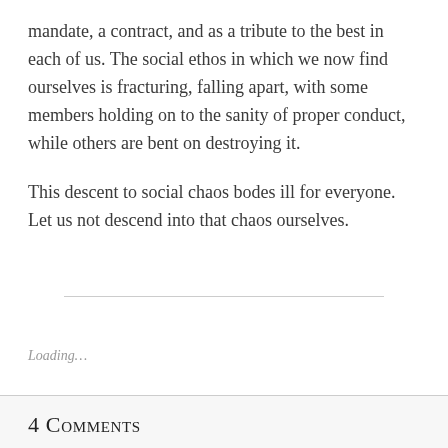mandate, a contract, and as a tribute to the best in each of us. The social ethos in which we now find ourselves is fracturing, falling apart, with some members holding on to the sanity of proper conduct, while others are bent on destroying it.
This descent to social chaos bodes ill for everyone. Let us not descend into that chaos ourselves.
Loading…
4 Comments